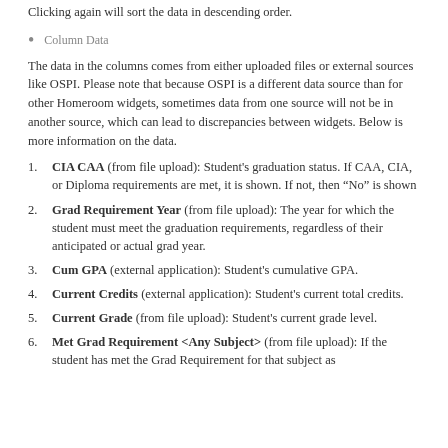Clicking again will sort the data in descending order.
Column Data
The data in the columns comes from either uploaded files or external sources like OSPI. Please note that because OSPI is a different data source than for other Homeroom widgets, sometimes data from one source will not be in another source, which can lead to discrepancies between widgets. Below is more information on the data.
CIA CAA (from file upload): Student's graduation status. If CAA, CIA, or Diploma requirements are met, it is shown. If not, then “No” is shown
Grad Requirement Year (from file upload): The year for which the student must meet the graduation requirements, regardless of their anticipated or actual grad year.
Cum GPA (external application): Student's cumulative GPA.
Current Credits (external application): Student's current total credits.
Current Grade (from file upload): Student's current grade level.
Met Grad Requirement <Any Subject> (from file upload): If the student has met the Grad Requirement for that subject as